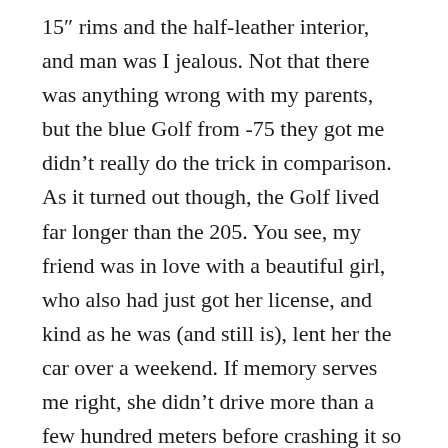15″ rims and the half-leather interior, and man was I jealous. Not that there was anything wrong with my parents, but the blue Golf from -75 they got me didn't really do the trick in comparison. As it turned out though, the Golf lived far longer than the 205. You see, my friend was in love with a beautiful girl, who also had just got her license, and kind as he was (and still is), lent her the car over a weekend. If memory serves me right, she didn't drive more than a few hundred meters before crashing it so completely that it never came back. Luckily nothing happened to her, but the two of them broke off shortly thereafter, unclear why…
Except teaching us to be careful with whom we lend our beloved cars to, the story also highlights another fact